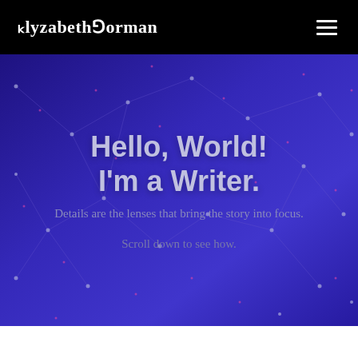ElyzabethGorman
[Figure (screenshot): Hero section of a personal writer portfolio website with a dark blue/purple geometric network background featuring connected dots and lines. Contains centered heading text and subtitle text over the decorative background.]
Hello, World! I'm a Writer.
Details are the lenses that bring the story into focus.
Scroll down to see how.